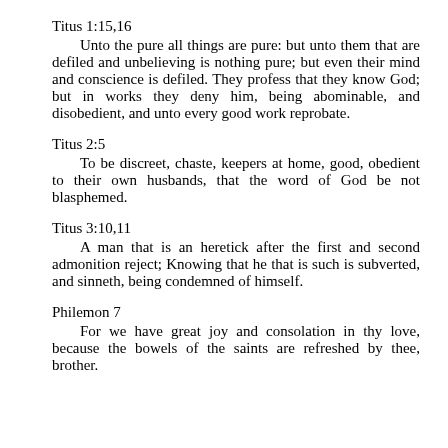Titus 1:15,16
Unto the pure all things are pure: but unto them that are defiled and unbelieving is nothing pure; but even their mind and conscience is defiled. They profess that they know God; but in works they deny him, being abominable, and disobedient, and unto every good work reprobate.
Titus 2:5
To be discreet, chaste, keepers at home, good, obedient to their own husbands, that the word of God be not blasphemed.
Titus 3:10,11
A man that is an heretick after the first and second admonition reject; Knowing that he that is such is subverted, and sinneth, being condemned of himself.
Philemon 7
For we have great joy and consolation in thy love, because the bowels of the saints are refreshed by thee, brother.